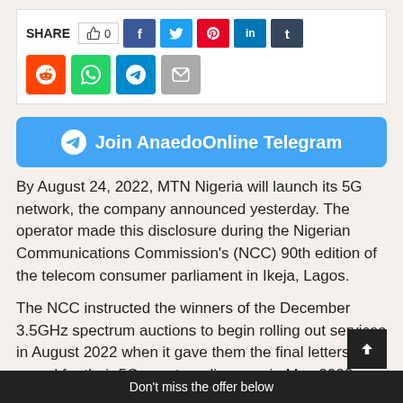[Figure (screenshot): Social media share bar with like count (0), Facebook, Twitter, Pinterest, LinkedIn, Tumblr, Reddit, WhatsApp, Telegram, and Email buttons]
[Figure (infographic): Blue rounded button banner: 'Join AnaedoOnline Telegram' with Telegram send icon]
By August 24, 2022, MTN Nigeria will launch its 5G network, the company announced yesterday. The operator made this disclosure during the Nigerian Communications Commission's (NCC) 90th edition of the telecom consumer parliament in Ikeja, Lagos.
The NCC instructed the winners of the December 3.5GHz spectrum auctions to begin rolling out services in August 2022 when it gave them the final letters of award for their 5G spectrum licences in May 2022.
Don't miss the offer below